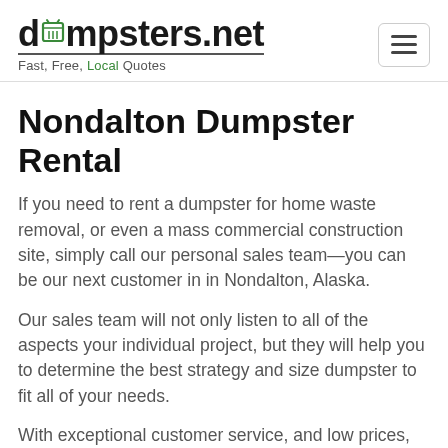dumpsters.net — Fast, Free, Local Quotes
Nondalton Dumpster Rental
If you need to rent a dumpster for home waste removal, or even a mass commercial construction site, simply call our personal sales team—you can be our next customer in in Nondalton, Alaska.
Our sales team will not only listen to all of the aspects your individual project, but they will help you to determine the best strategy and size dumpster to fit all of your needs.
With exceptional customer service, and low prices,